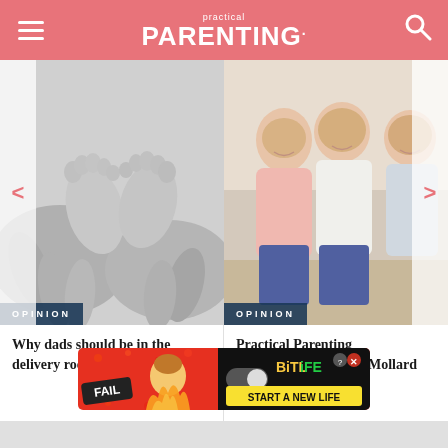practical PARENTING
[Figure (photo): Black and white close-up photo of baby feet being held by adult hands]
[Figure (photo): Color photo of three smiling women sitting together]
OPINION
OPINION
Why dads should be in the delivery room
Practical Parenting Commentator Angela Mollard
[Figure (screenshot): BitLife advertisement banner — FAIL character with fire, BitLife logo, START A NEW LIFE text]